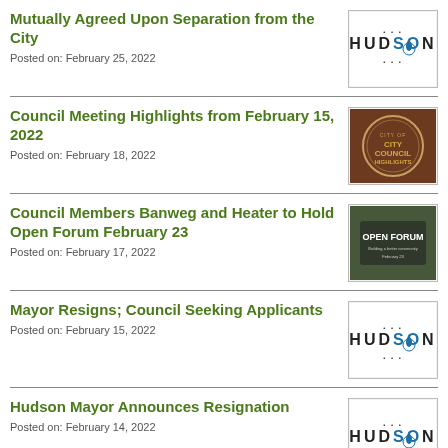Mutually Agreed Upon Separation from the City
Posted on: February 25, 2022
Council Meeting Highlights from February 15, 2022
Posted on: February 18, 2022
Council Members Banweg and Heater to Hold Open Forum February 23
Posted on: February 17, 2022
Mayor Resigns; Council Seeking Applicants
Posted on: February 15, 2022
Hudson Mayor Announces Resignation
Posted on: February 14, 2022